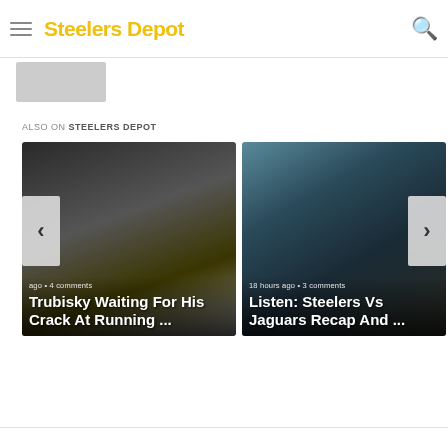Steelers Depot
[Figure (photo): Gray rectangle placeholder image]
ALSO ON STEELERS DEPOT
[Figure (photo): Carousel card: football player helmet close-up. Timestamp: ago • 4 comments. Title: Trubisky Waiting For His Crack At Running ...]
[Figure (photo): Carousel card: Steelers player on field, teal background. Timestamp: 18 hours ago • 3 comments. Title: Listen: Steelers Vs Jaguars Recap And ...]